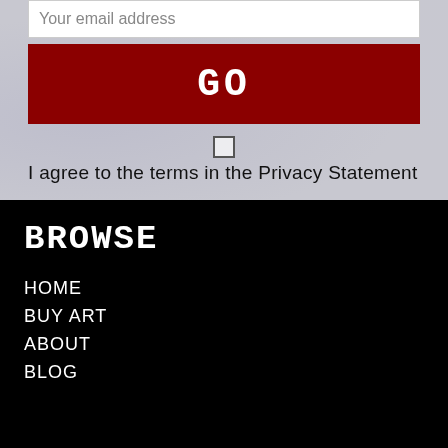Your email address
GO
I agree to the terms in the Privacy Statement
BROWSE
HOME
BUY ART
ABOUT
BLOG